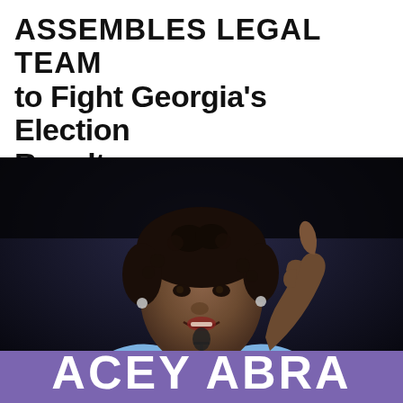ASSEMBLES LEGAL TEAM to Fight Georgia's Election Results
[Figure (photo): A woman in a light blue blazer speaking at a podium with a microphone, pointing one finger upward. She is speaking passionately against a dark background. A purple banner at the bottom reads 'ACEY ABRA' (partial text of 'Stacey Abrams').]